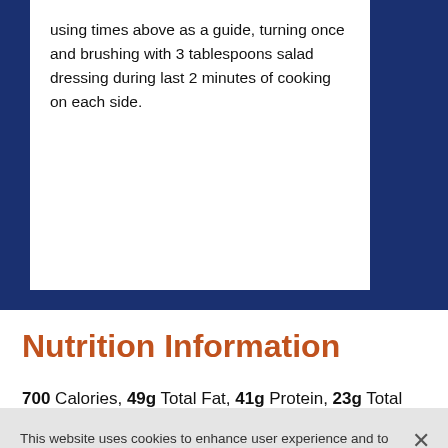using times above as a guide, turning once and brushing with 3 tablespoons salad dressing during last 2 minutes of cooking on each side.
Brown Derby R... Hollywood. Our baby corn on t... a tribute, inten...
Nutrition Information
700 Calories, 49g Total Fat, 41g Protein, 23g Total
This website uses cookies to enhance user experience and to analyze performance and traffic on our website. We also share information about your use of our site with our social media, advertising and analytics partners. Link to Cookie Policy
Customize Settings  Accept All Cookies